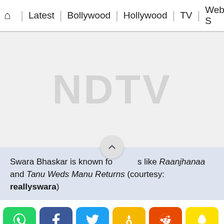🏠 | Latest | Bollywood | Hollywood | TV | Web S
[Figure (photo): Light grey placeholder image with NDTV watermark text in the center. A scroll-up arrow button overlaps the bottom center.]
Swara Bhaskar is known for films like Raanjhanaa and Tanu Weds Manu Returns (courtesy: reallyswara)
[Figure (infographic): Social share buttons row: WhatsApp (green), Facebook (dark blue), Twitter (light blue), ShareChat (yellow), Reddit (orange-red), Snapchat (yellow)]